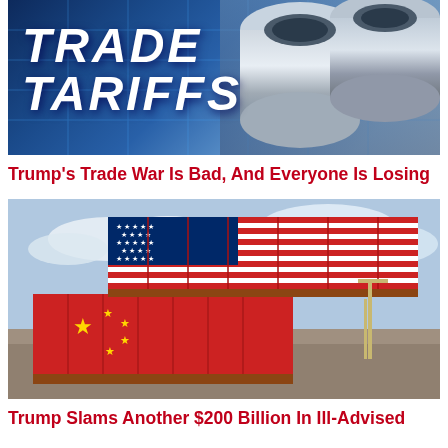[Figure (illustration): Trade Tariffs graphic with bold white italic text 'TRADE TARIFFS' on a blue grid background with steel pipes on the right side]
Trump’s Trade War Is Bad, And Everyone Is Losing
[Figure (illustration): Two large shipping containers stacked, one painted with Chinese flag (red with yellow stars), one with American flag (red white blue stripes and stars), set against a cloudy sky at a port]
Trump Slams Another $200 Billion In Ill-Advised